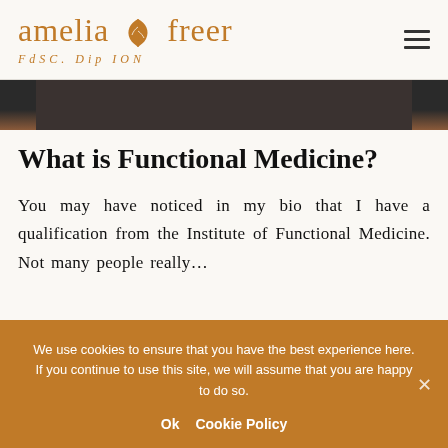amelia freer FdSC. Dip ION
[Figure (photo): Partial hero image strip showing a dark wooden surface with a hand visible, cropped at top of content area]
What is Functional Medicine?
You may have noticed in my bio that I have a qualification from the Institute of Functional Medicine. Not many people really...
We use cookies to ensure that you have the best experience here. If you continue to use this site, we will assume that you are happy to do so.

Ok   Cookie Policy